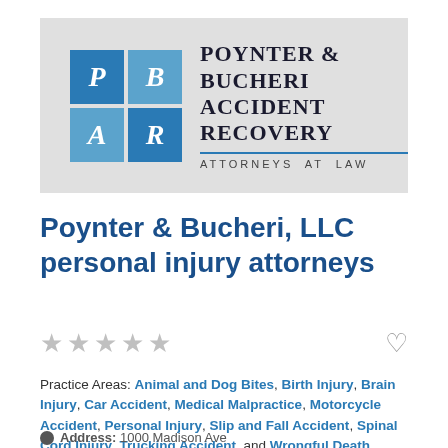[Figure (logo): Poynter & Bucheri Accident Recovery Attorneys at Law logo with blue PB/AR grid squares and firm name text on grey background]
Poynter & Bucheri, LLC personal injury attorneys
★★★★★ (5 empty stars rating) and heart icon
Practice Areas: Animal and Dog Bites, Birth Injury, Brain Injury, Car Accident, Medical Malpractice, Motorcycle Accident, Personal Injury, Slip and Fall Accident, Spinal Cord Injury, Trucking Accident, and Wrongful Death
Address: 1000 Madison Ave